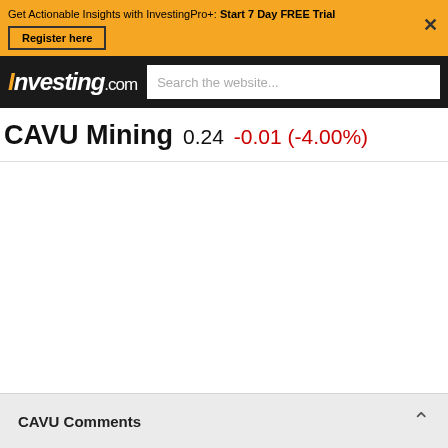Get Actionable Insights with InvestingPro+: Start 7 Day FREE Trial
Register here
[Figure (screenshot): Investing.com logo and search bar in black navigation bar]
CAVU Mining  0.24  -0.01 (-4.00%)
CAVU Comments